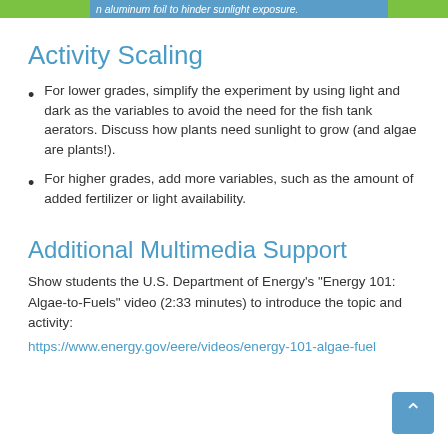n aluminum foil to hinder sunlight exposure.
Activity Scaling
For lower grades, simplify the experiment by using light and dark as the variables to avoid the need for the fish tank aerators. Discuss how plants need sunlight to grow (and algae are plants!).
For higher grades, add more variables, such as the amount of added fertilizer or light availability.
Additional Multimedia Support
Show students the U.S. Department of Energy's "Energy 101: Algae-to-Fuels" video (2:33 minutes) to introduce the topic and activity:
https://www.energy.gov/eere/videos/energy-101-algae-fuel